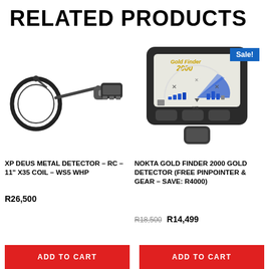RELATED PRODUCTS
[Figure (photo): XP Deus metal detector coil and control unit on white background]
[Figure (photo): Nokta Gold Finder 2000 metal detector control unit with Sale badge]
XP DEUS METAL DETECTOR – RC – 11" X35 COIL – WS5 WHP
R26,500
NOKTA GOLD FINDER 2000 GOLD DETECTOR (FREE PINPOINTER & GEAR – SAVE: R4000)
R18,500 R14,499
ADD TO CART
ADD TO CART